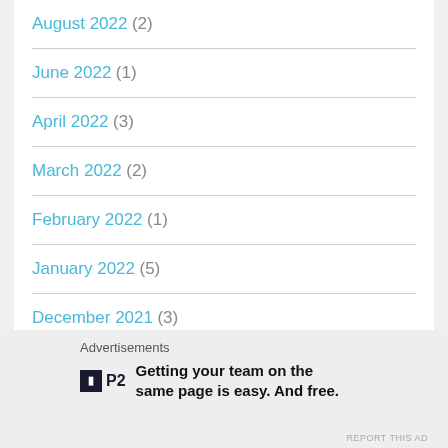August 2022 (2)
June 2022 (1)
April 2022 (3)
March 2022 (2)
February 2022 (1)
January 2022 (5)
December 2021 (3)
November 2021 (1)
October 2021 (1)
September 2021 (1)
Advertisements
P2 Getting your team on the same page is easy. And free.